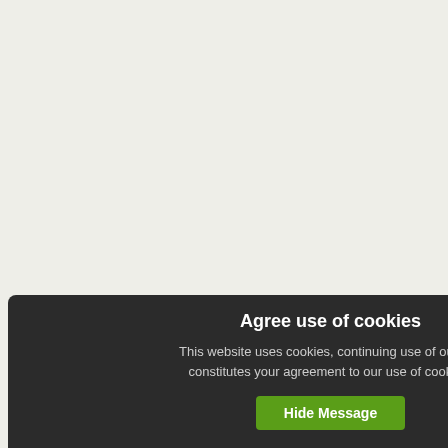[Figure (photo): Medical website screenshot showing a cookie consent banner and a list of medical video thumbnails on the right side. Top card shows blood/cancer cells image with views (12357). Middle card shows kidney anatomy image with views (12342). Third card shows a blonde woman with views (12237). Fourth card shows a couple. A dark cookie consent overlay is visible at the bottom left.]
views (12357)
Pati... 01:1...
views (12342)
Zo... De...
ews (12237)
Go...
Agree use of cookies
This website uses cookies, continuing use of our site constitutes your agreement to our use of cookies.
Hide Message